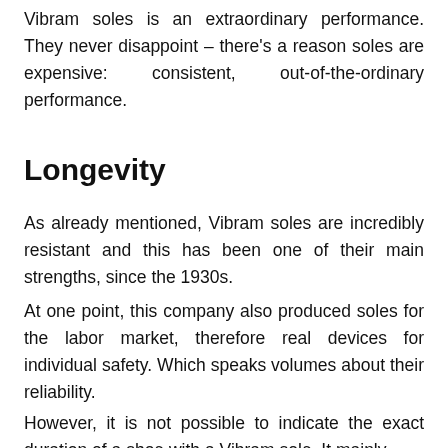Vibram soles is an extraordinary performance. They never disappoint – there's a reason soles are expensive: consistent, out-of-the-ordinary performance.
Longevity
As already mentioned, Vibram soles are incredibly resistant and this has been one of their main strengths, since the 1930s.
At one point, this company also produced soles for the labor market, therefore real devices for individual safety. Which speaks volumes about their reliability.
However, it is not possible to indicate the exact duration of a shoe with a Vibram sole. It mainly